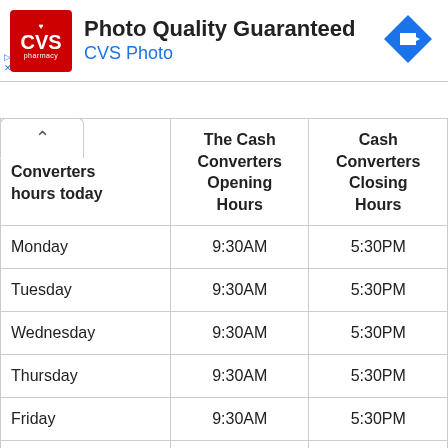[Figure (logo): CVS Pharmacy advertisement banner with logo, 'Photo Quality Guaranteed' heading, 'CVS Photo' subtitle, and a blue navigation arrow icon]
| Cash Converters hours today | The Cash Converters Opening Hours | Cash Converters Closing Hours |
| --- | --- | --- |
| Monday | 9:30AM | 5:30PM |
| Tuesday | 9:30AM | 5:30PM |
| Wednesday | 9:30AM | 5:30PM |
| Thursday | 9:30AM | 5:30PM |
| Friday | 9:30AM | 5:30PM |
| Cash |  |  |